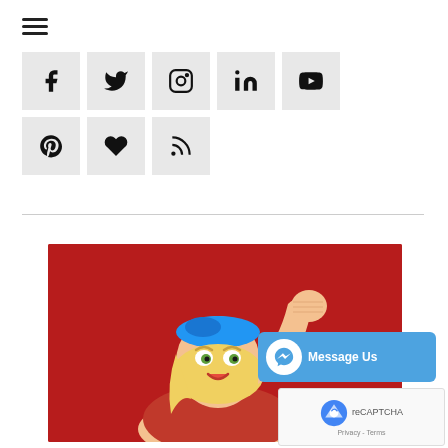[Figure (other): Hamburger menu icon (three horizontal lines)]
[Figure (other): Social media icon grid: Facebook, Twitter, Instagram, LinkedIn, YouTube, Pinterest, Tumblr/heart, RSS feed buttons on light grey backgrounds]
[Figure (illustration): Illustration of a blonde woman wearing a blue headband and red outfit, flexing her arm in a Rosie the Riveter pose against a red background]
[Figure (other): Facebook Messenger 'Message Us' button in blue with messenger logo icon]
[Figure (other): reCAPTCHA badge showing Google reCAPTCHA logo with 'Privacy - Terms' text]